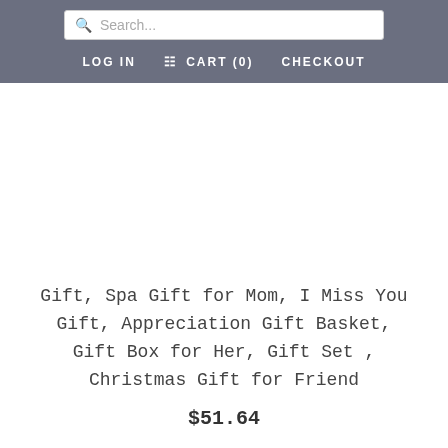Search...  LOG IN  CART (0)  CHECKOUT
Gift, Spa Gift for Mom, I Miss You Gift, Appreciation Gift Basket, Gift Box for Her, Gift Set , Christmas Gift for Friend
$51.64